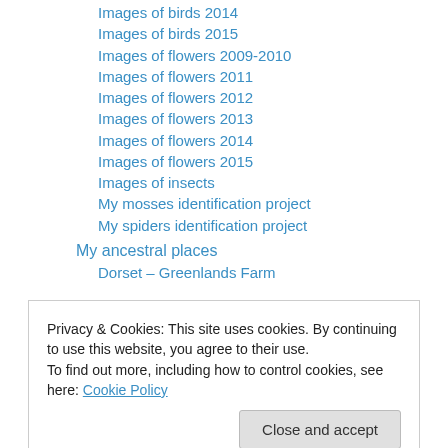Images of birds 2014
Images of birds 2015
Images of flowers 2009-2010
Images of flowers 2011
Images of flowers 2012
Images of flowers 2013
Images of flowers 2014
Images of flowers 2015
Images of insects
My mosses identification project
My spiders identification project
My ancestral places
Dorset – Greenlands Farm
Privacy & Cookies: This site uses cookies. By continuing to use this website, you agree to their use.
To find out more, including how to control cookies, see here: Cookie Policy
Dorset churches – Studland St Nicholas